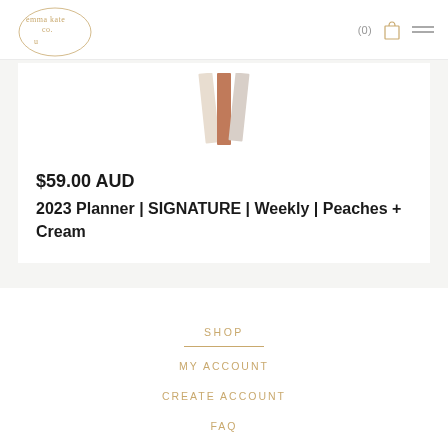emma kate co. — (0) [cart] [menu]
[Figure (photo): Partial view of a planner with peach/cream/taupe ribbon bookmarks fanned out at top]
$59.00 AUD
2023 Planner | SIGNATURE | Weekly | Peaches + Cream
SHOP
MY ACCOUNT
CREATE ACCOUNT
FAQ
SHIPPING AND RETURNS